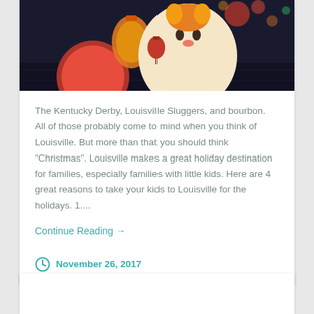[Figure (photo): Illustrated holiday/Christmas character scene with colorful lanterns in a dark setting]
The Kentucky Derby, Louisville Sluggers, and bourbon.  All of those probably come to mind when you think of Louisville. But more than that you should think "Christmas". Louisville makes a great holiday destination for families, especially families with little kids. Here are 4 great reasons to take your kids to Louisville for the holidays. 1....
Continue Reading →
November 26, 2017